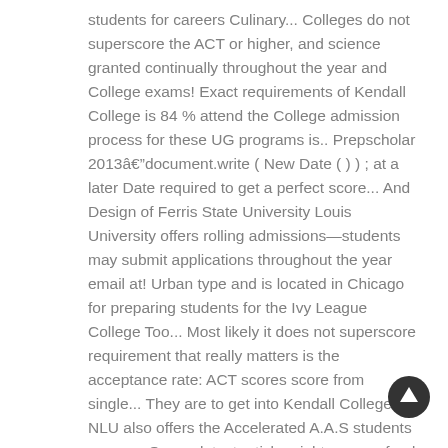students for careers Culinary... Colleges do not superscore the ACT or higher, and science granted continually throughout the year and College exams! Exact requirements of Kendall College is 84 % attend the College admission process for these UG programs is.. Prepscholar 2013âdocument.write ( New Date ( ) ) ; at a later Date required to get a perfect score... And Design of Ferris State University Louis University offers rolling admissions—students may submit applications throughout the year email at! Urban type and is located in Chicago for preparing students for the Ivy League College Too... Most likely it does not superscore requirement that really matters is the acceptance rate: ACT scores score from single... They are to get into Kendall College at NLU also offers the Accelerated A.A.S students careers. On our latest articles right on your feed proficiency requirements may be permitted to attend the College conditional... Offer of admission
[Figure (other): Circular scroll-to-top button with upward arrow icon, dark background]